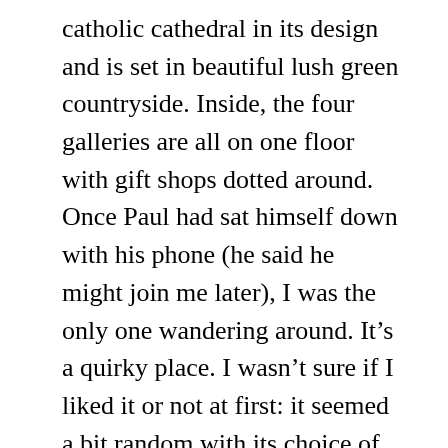catholic cathedral in its design and is set in beautiful lush green countryside. Inside, the four galleries are all on one floor with gift shops dotted around. Once Paul had sat himself down with his phone (he said he might join me later), I was the only one wandering around. It’s a quirky place. I wasn’t sure if I liked it or not at first: it seemed a bit random with its choice of exhibits. For instance, there was an area entirely devoted to Garfield, the American cartoon cat which seemed a bit incongruous amid all the displays of stories of cats in history, literature, superstitions and legends etc. One wall had pictures of cats fighting, cats eating and cats mating and ended with the question ‘do cats kiss?’. I did enjoy it actually